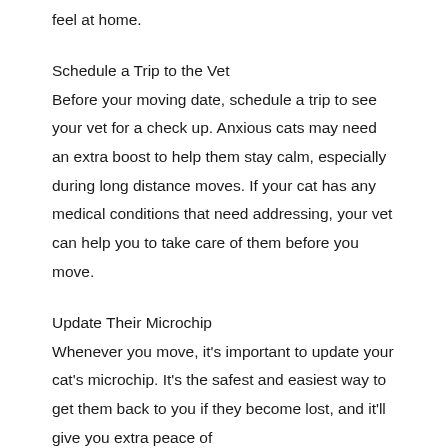feel at home.
Schedule a Trip to the Vet
Before your moving date, schedule a trip to see your vet for a check up. Anxious cats may need an extra boost to help them stay calm, especially during long distance moves. If your cat has any medical conditions that need addressing, your vet can help you to take care of them before you move.
Update Their Microchip
Whenever you move, it's important to update your cat's microchip. It's the safest and easiest way to get them back to you if they become lost, and it'll give you extra peace of